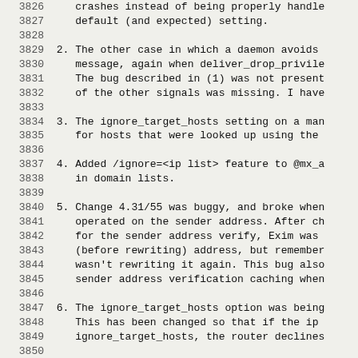3826   crashes instead of being properly handle
3827       default (and expected) setting.
3828
3829 2. The other case in which a daemon avoids
3830       message, again when deliver_drop_privile
3831       The bug described in (1) was not present
3832       of the other signals was missing. I have
3833
3834 3. The ignore_target_hosts setting on a man
3835       for hosts that were looked up using the
3836
3837 4. Added /ignore=<ip list> feature to @mx_a
3838       in domain lists.
3839
3840 5. Change 4.31/55 was buggy, and broke when
3841       operated on the sender address. After ch
3842       for the sender address verify, Exim was
3843       (before rewriting) address, but remember
3844       wasn't rewriting it again. This bug also
3845       sender address verification caching when
3846
3847 6. The ignore_target_hosts option was being
3848       This has been changed so that if the ip
3849       ignore_target_hosts, the router declines
3850
3851 7. Added expansion conditions match_domain,
3852       part (NOT match_host).
3853
3854 8. The placeholder for the Received: header
3855
3856 9. Added code to Exim itself and to exim_lo
3857       condition that could lead to file corrup
3858       issue is with the lockfile that is creat